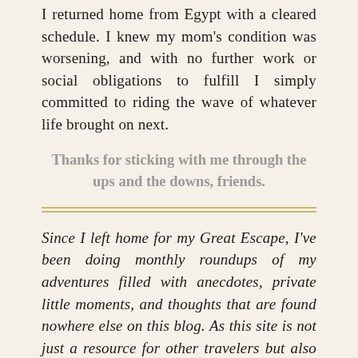I returned home from Egypt with a cleared schedule. I knew my mom's condition was worsening, and with no further work or social obligations to fulfill I simply committed to riding the wave of whatever life brought on next.
Thanks for sticking with me through the ups and the downs, friends.
Since I left home for my Great Escape, I've been doing monthly roundups of my adventures filled with anecdotes, private little moments, and thoughts that are found nowhere else on this blog. As this site is not just a resource for other travelers but also my own personal travel diary, I like to take some time to reflect on not just what I did, but how I felt. You